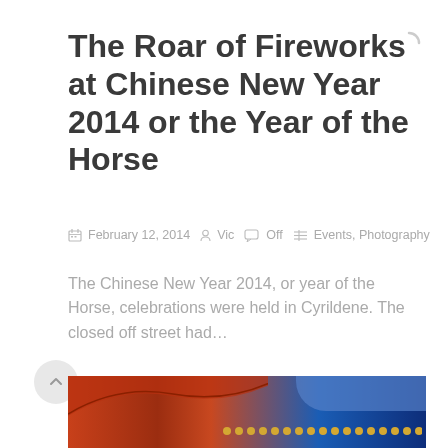The Roar of Fireworks at Chinese New Year 2014 or the Year of the Horse
February 12, 2014  Vic  Off  Events, Photography
The Chinese New Year 2014, or year of the Horse, celebrations were held in Cyrildene. The closed off street had...
+ READ MORE
[Figure (photo): Partial view of a traditional Chinese building with red and gold decorative roof tiles visible at the bottom of the page]